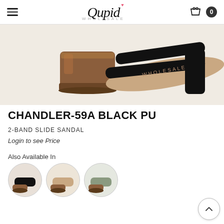Qupid Wholesale — hamburger menu, cart icon, item count 0
[Figure (photo): Close-up photo of a black PU 2-band slide sandal with a brown wooden block heel, on a white/beige background. The Qupid Wholesale logo is visible on the footbed.]
CHANDLER-59A BLACK PU
2-BAND SLIDE SANDAL
Login to see Price
Also Available In
[Figure (photo): Small circular thumbnail of a dark/black variant of the sandal]
[Figure (photo): Small circular thumbnail of a tan/nude variant of the sandal]
[Figure (photo): Small circular thumbnail of a grey/sage variant of the sandal]